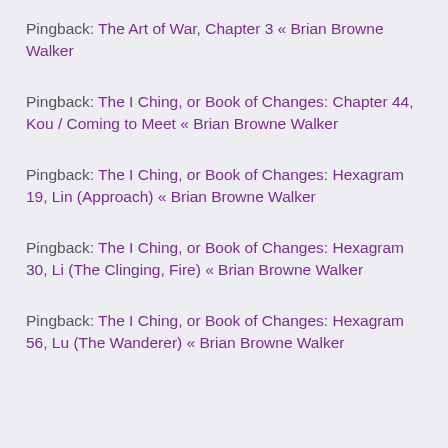Pingback: The Art of War, Chapter 3 « Brian Browne Walker
Pingback: The I Ching, or Book of Changes: Chapter 44, Kou / Coming to Meet « Brian Browne Walker
Pingback: The I Ching, or Book of Changes: Hexagram 19, Lin (Approach) « Brian Browne Walker
Pingback: The I Ching, or Book of Changes: Hexagram 30, Li (The Clinging, Fire) « Brian Browne Walker
Pingback: The I Ching, or Book of Changes: Hexagram 56, Lu (The Wanderer) « Brian Browne Walker